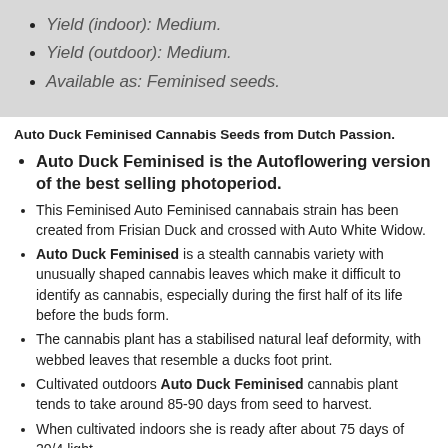Yield (indoor): Medium.
Yield (outdoor): Medium.
Available as: Feminised seeds.
Auto Duck Feminised Cannabis Seeds from Dutch Passion.
Auto Duck Feminised is the Autoflowering version of the best selling photoperiod.
This Feminised Auto Feminised cannabais strain has been created from Frisian Duck and crossed with Auto White Widow.
Auto Duck Feminised is a stealth cannabis variety with unusually shaped cannabis leaves which make it difficult to identify as cannabis, especially during the first half of its life before the buds form.
The cannabis plant has a stabilised natural leaf deformity, with webbed leaves that resemble a ducks foot print.
Cultivated outdoors Auto Duck Feminised cannabis plant tends to take around 85-90 days from seed to harvest.
When cultivated indoors she is ready after about 75 days of 20/4 light.
Auto Duck Feminised produces good quality weed and will bloom well in good conditions outdoors or in a greenhouse.